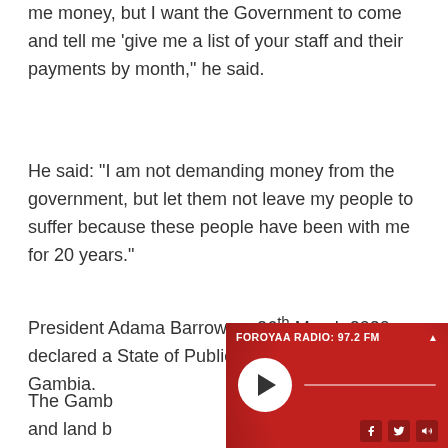me money, but I want the Government to come and tell me 'give me a list of your staff and their payments by month," he said.
He said: “I am not demanding money from the government, but let them not leave my people to suffer because these people have been with me for 20 years.”
President Adama Barrow on 26th March 2020 declared a State of Public Emergency in The Gambia.
The Gamb[ia] and land b[orders were closed due to] Coronavir[us...]
[Figure (screenshot): Foroyaa Radio 97.2 FM audio player widget with red background, play button, progress bar, and social media icons (Facebook, Twitter, speaker).]